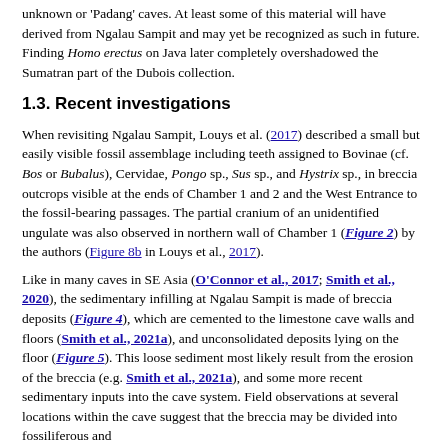unknown or 'Padang' caves. At least some of this material will have derived from Ngalau Sampit and may yet be recognized as such in future. Finding Homo erectus on Java later completely overshadowed the Sumatran part of the Dubois collection.
1.3. Recent investigations
When revisiting Ngalau Sampit, Louys et al. (2017) described a small but easily visible fossil assemblage including teeth assigned to Bovinae (cf. Bos or Bubalus), Cervidae, Pongo sp., Sus sp., and Hystrix sp., in breccia outcrops visible at the ends of Chamber 1 and 2 and the West Entrance to the fossil-bearing passages. The partial cranium of an unidentified ungulate was also observed in northern wall of Chamber 1 (Figure 2) by the authors (Figure 8b in Louys et al., 2017).
Like in many caves in SE Asia (O'Connor et al., 2017; Smith et al., 2020), the sedimentary infilling at Ngalau Sampit is made of breccia deposits (Figure 4), which are cemented to the limestone cave walls and floors (Smith et al., 2021a), and unconsolidated deposits lying on the floor (Figure 5). This loose sediment most likely result from the erosion of the breccia (e.g. Smith et al., 2021a), and some more recent sedimentary inputs into the cave system. Field observations at several locations within the cave suggest that the breccia may be divided into fossiliferous and